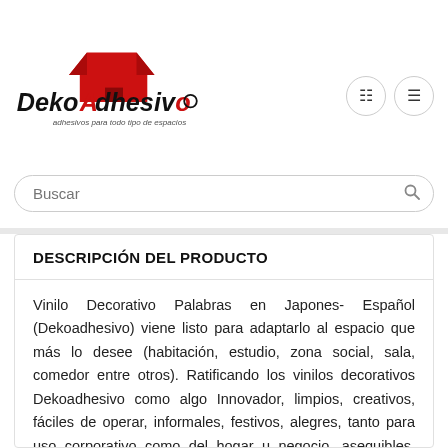[Figure (logo): DekoAdhesivo logo with red house/roof shape above stylized text 'DekoAdhesivo' and tagline 'adhesivos para todo tipo de espacios']
Buscar
DESCRIPCIÓN DEL PRODUCTO
Vinilo Decorativo Palabras en Japones- Español (Dekoadhesivo) viene listo para adaptarlo al espacio que más lo desee (habitación, estudio, zona social, sala, comedor entre otros). Ratificando los vinilos decorativos Dekoadhesivo como algo Innovador, limpios, creativos, fáciles de operar, informales, festivos, alegres, tanto para uso corporativo como del hogar u negocio, asequibles, divertidos. Inspirados en arte, amigables, potentes, profesionales, personalizados, coloridos, de alta tecnología, divertidos, energéticos, de alto impacto, eficaces...